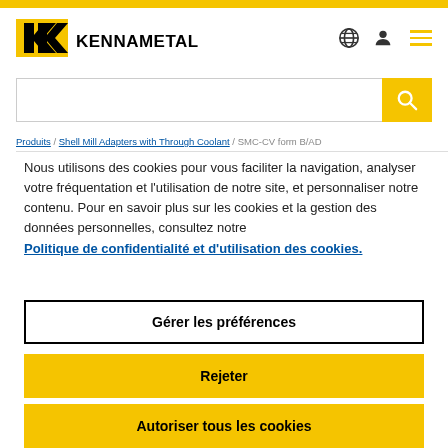[Figure (logo): Kennametal logo with stylized double-K and brand name]
Produits  /  Shell Mill Adapters with Through Coolant  /  SMC-CV form B/AD
Nous utilisons des cookies pour vous faciliter la navigation, analyser votre fréquentation et l'utilisation de notre site, et personnaliser notre contenu. Pour en savoir plus sur les cookies et la gestion des données personnelles, consultez notre Politique de confidentialité et d'utilisation des cookies.
Gérer les préférences
Rejeter
Autoriser tous les cookies